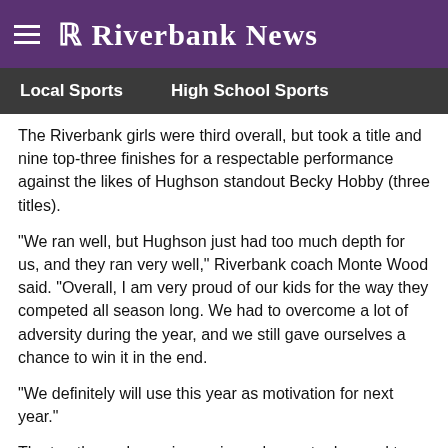R Riverbank News
Local Sports   High School Sports
The Riverbank girls were third overall, but took a title and nine top-three finishes for a respectable performance against the likes of Hughson standout Becky Hobby (three titles).
"We ran well, but Hughson just had too much depth for us, and they ran very well," Riverbank coach Monte Wood said. "Overall, I am very proud of our kids for the way they competed all season long. We had to overcome a lot of adversity during the year, and we still gave ourselves a chance to win it in the end.
"We definitely will use this year as motivation for next year."
The top three place winners in each event advanced to the first day of the Sac-Joaquin Section Division IV/V Championships at Modesto Junior College on Tuesday. Fourth place finishers from